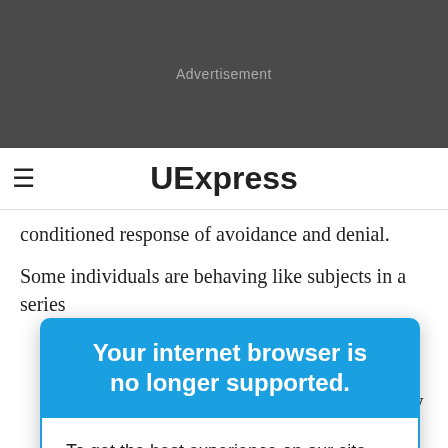[Figure (other): Dark gray advertisement banner with 'Advertisement' label in light gray text]
≡  UExpress
conditioned response of avoidance and denial.
Some individuals are behaving like subjects in a series
[Figure (screenshot): Browser upgrade modal overlay with blue header 'Your internet browser is no longer supported.' and white body text 'To get the best experience on our site, we recommend you upgrade to the latest version.']
houn of the the 1960s and and mice. They and were more food as
and additional living